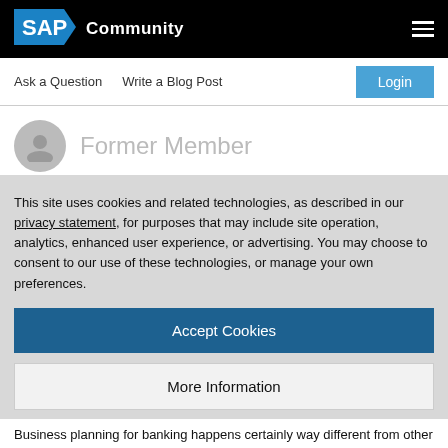SAP Community
Ask a Question   Write a Blog Post   Login
Former Member
This site uses cookies and related technologies, as described in our privacy statement, for purposes that may include site operation, analytics, enhanced user experience, or advertising. You may choose to consent to our use of these technologies, or manage your own preferences.
Accept Cookies
More Information
Privacy Policy | Powered by: TrustArc
Business planning for banking happens certainly way different from other